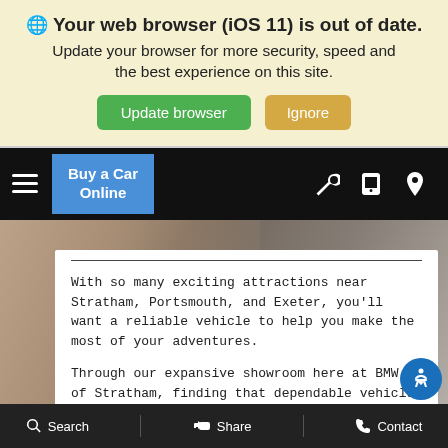🌐 Your web browser (iOS 11) is out of date. Update your browser for more security, speed and the best experience on this site. [Update browser] [Ignore]
[Figure (screenshot): Black navigation bar with hamburger menu, 'Buy a Car Online' blue button, and wrench/phone/location icons on the right]
[Figure (photo): Blurred close-up photo of hands holding car keys, with a white content card overlay showing text about BMW of Stratham]
With so many exciting attractions near Stratham, Portsmouth, and Exeter, you'll want a reliable vehicle to help you make the most of your adventures.
Through our expansive showroom here at BMW of Stratham, finding that dependable vehicle is easier than ever. For extra assistance, we've created this detailed guide on how to finance a
Search   Share   Contact